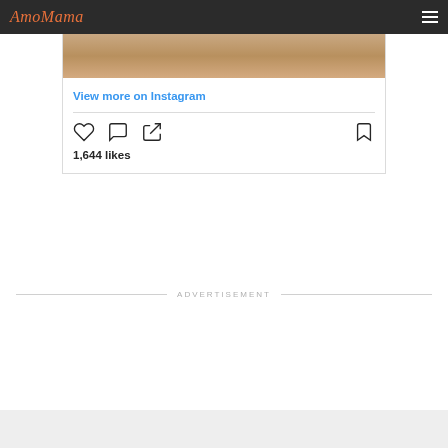AmoMama
[Figure (screenshot): Instagram post embed showing View more on Instagram link, interaction icons (heart, comment, share, bookmark), and 1,644 likes count]
View more on Instagram
1,644 likes
ADVERTISEMENT